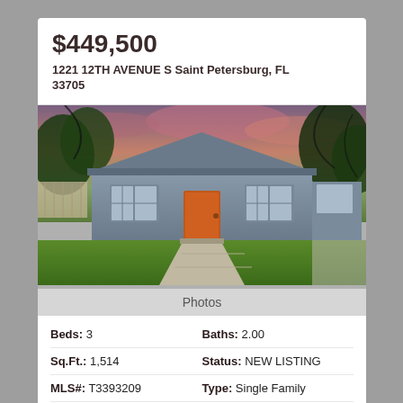$449,500
1221 12TH AVENUE S Saint Petersburg, FL 33705
[Figure (photo): Exterior photo of a gray single-family home with an orange front door, green lawn, concrete walkway, trees in background with a pink/purple sunset sky.]
Photos
Beds: 3
Baths: 2.00
Sq.Ft.: 1,514
Status: NEW LISTING
MLS#: T3393209
Type: Single Family
Subdivision: SILVER
Lot size: 0.15 A